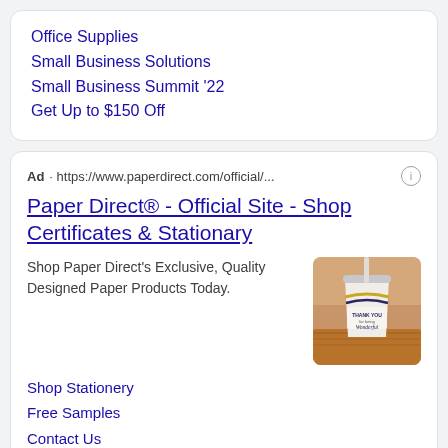Office Supplies
Small Business Solutions
Small Business Summit '22
Get Up to $150 Off
Ad · https://www.paperdirect.com/official/...
Paper Direct® - Official Site - Shop Certificates & Stationary
Shop Paper Direct's Exclusive, Quality Designed Paper Products Today.
[Figure (photo): A white cup with a straw and 'Thank You for Being Wonderful' text on a wooden surface with a blurred background.]
Shop Stationery
Free Samples
Contact Us
Customer Support